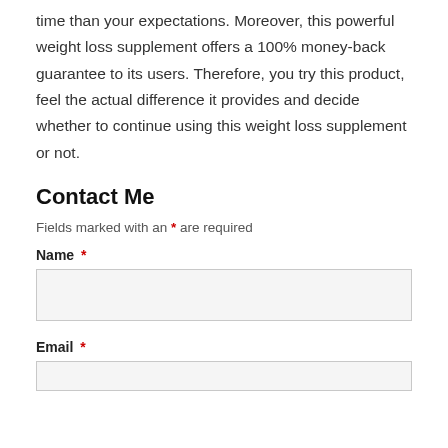time than your expectations. Moreover, this powerful weight loss supplement offers a 100% money-back guarantee to its users. Therefore, you try this product, feel the actual difference it provides and decide whether to continue using this weight loss supplement or not.
Contact Me
Fields marked with an * are required
Name *
Email *